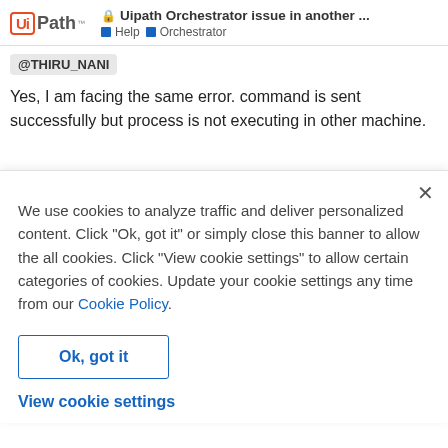UiPath — Uipath Orchestrator issue in another ... | Help | Orchestrator
@THIRU_NANI
Yes, I am facing the same error. command is sent successfully but process is not executing in other machine.
We use cookies to analyze traffic and deliver personalized content. Click “Ok, got it” or simply close this banner to allow the all cookies. Click "View cookie settings" to allow certain categories of cookies. Update your cookie settings any time from our Cookie Policy.
Ok, got it
View cookie settings